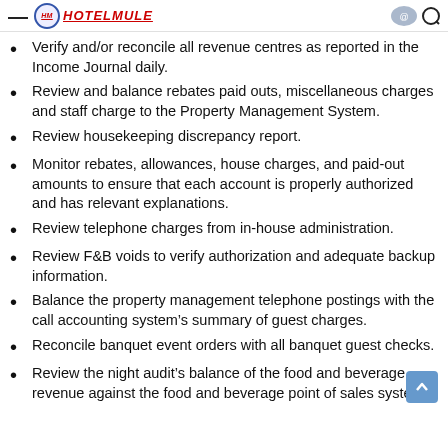— [logo] HOTELMULE
Verify and/or reconcile all revenue centres as reported in the Income Journal daily.
Review and balance rebates paid outs, miscellaneous charges and staff charge to the Property Management System.
Review housekeeping discrepancy report.
Monitor rebates, allowances, house charges, and paid-out amounts to ensure that each account is properly authorized and has relevant explanations.
Review telephone charges from in-house administration.
Review F&B voids to verify authorization and adequate backup information.
Balance the property management telephone postings with the call accounting system's summary of guest charges.
Reconcile banquet event orders with all banquet guest checks.
Review the night audit's balance of the food and beverage revenue against the food and beverage point of sales system.